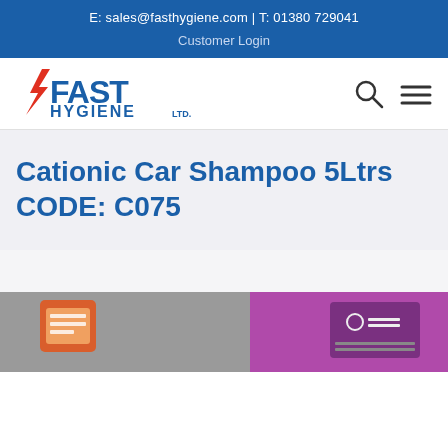E: sales@fasthygiene.com | T: 01380 729041
Customer Login
[Figure (logo): Fast Hygiene Ltd logo with red lightning bolt and blue text]
Cationic Car Shampoo 5Ltrs CODE: C075
[Figure (photo): Partial product image of Cationic Car Shampoo packaging on grey/purple background with orange and grey icons]